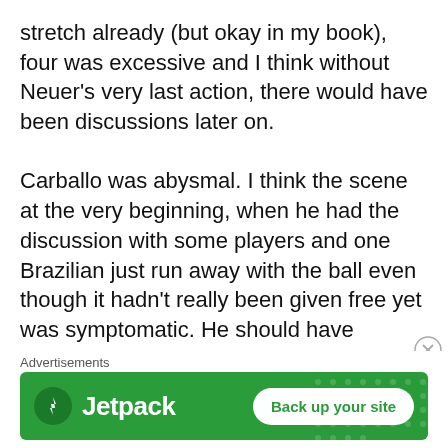stretch already (but okay in my book), four was excessive and I think without Neuer's very last action, there would have been discussions later on.

Carballo was abysmal. I think the scene at the very beginning, when he had the discussion with some players and one Brazilian just run away with the ball even though it hadn't really been given free yet was symptomatic. He should have insisted on a repeat at the very least, but he just allowed the action, and from this point onward the players were basically doing whatever they wanted. There were one situation which was a
Advertisements
[Figure (other): Jetpack advertisement banner with green background, Jetpack logo on the left, and 'Back up your site' button on the right]